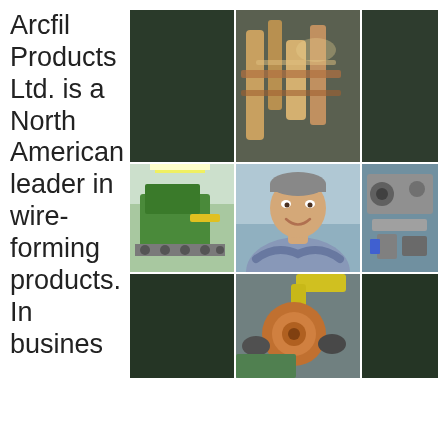Arcfil Products Ltd. is a North American leader in wire-forming products. In busines
[Figure (photo): A 3x3 photo grid collage showing industrial wire-forming machinery, a factory floor with green machine, a smiling man (portrait), mechanical components/coils, and other manufacturing equipment. Dark green background cells fill empty grid positions.]
We are using cookies to give you the best experience on our website.
By continuing to use the site, you agree to the use of cookies. To find out more, read our privacy policy.